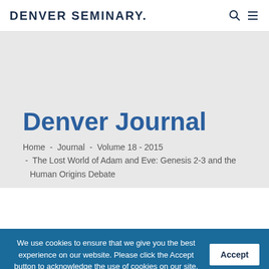DENVER SEMINARY.
Denver Journal
Home - Journal - Volume 18 - 2015 - The Lost World of Adam and Eve: Genesis 2-3 and the Human Origins Debate
We use cookies to ensure that we give you the best experience on our website. Please click the Accept button to acknowledge the use of cookies on our site.